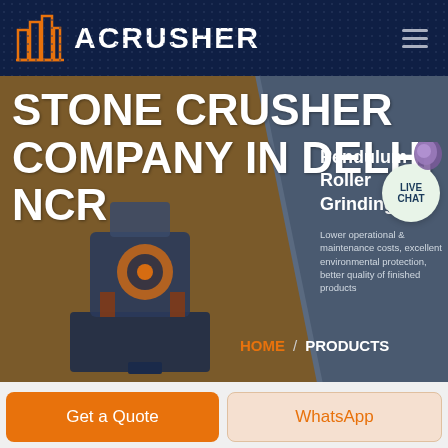ACRUSHER
[Figure (screenshot): Hero banner showing a stone crusher machine on brown/diagonal background with heading STONE CRUSHER COMPANY IN DELHI NCR, and a product panel showing Pendulum Roller Grinding Mill on the right]
STONE CRUSHER COMPANY IN DELHI NCR
Pendulum Roller Grinding Mill
Lower operational & maintenance costs, excellent environmental protection, better quality of finished products
HOME / PRODUCTS
LIVE CHAT
Get a Quote
WhatsApp